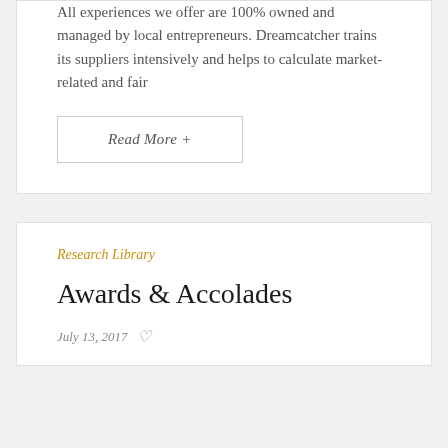All experiences we offer are 100% owned and managed by local entrepreneurs. Dreamcatcher trains its suppliers intensively and helps to calculate market-related and fair
Read More +
Research Library
Awards & Accolades
July 13, 2017